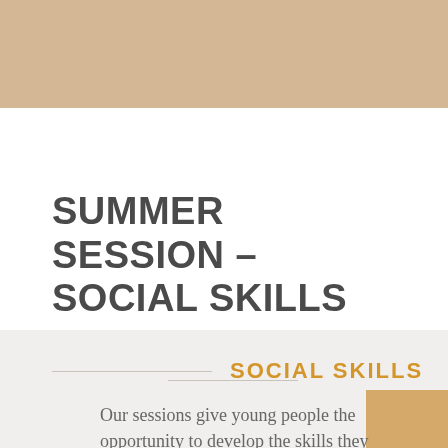SUMMER SESSION – SOCIAL SKILLS
SOCIAL SKILLS
Our sessions give young people the opportunity to develop the skills they